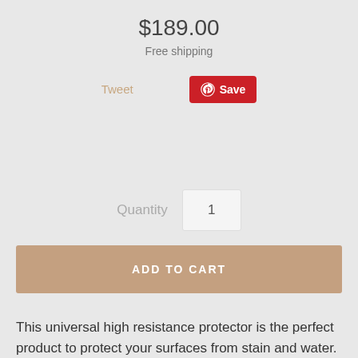$189.00
Free shipping
Tweet
Save
Quantity  1
ADD TO CART
This universal high resistance protector is the perfect product to protect your surfaces from stain and water. Highly resistant to scratches and impacts thanks to the